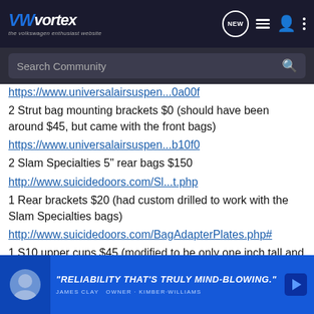VWvortex — the volkswagen enthusiast website
https://www.universalairsuspen...0a00f
2 Strut bag mounting brackets $0 (should have been around $45, but came with the front bags)
https://www.universalairsuspen...b10f0
2 Slam Specialties 5" rear bags $150
http://www.suicidedoors.com/Sl...t.php
1 Rear brackets $20 (had custom drilled to work with the Slam Specialties bags)
http://www.suicidedoors.com/BagAdapterPlates.php#
1 S10 upper cups $45 (modified to be only one inch tall and the bolt location was moved)
http://suicidedoors.com/S10Sin...s.php#
1 Bilstein Sport shocks $325 (usually around $500 a set)
Bought
1 5 gallo
[Figure (screenshot): Advertisement overlay showing a person and text 'RELIABILITY THAT'S TRULY MIND-BLOWING.' by James Clay, owner Kimber-Williams]